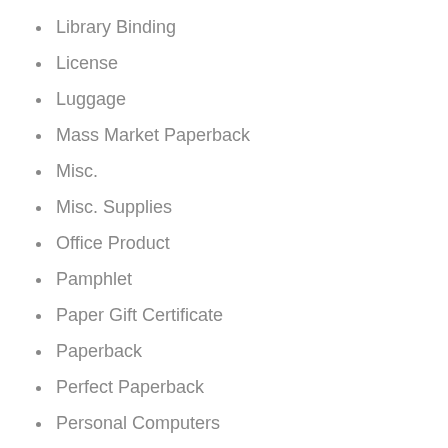Lawn & Patio
Library Binding
License
Luggage
Mass Market Paperback
Misc.
Misc. Supplies
Office Product
Pamphlet
Paper Gift Certificate
Paperback
Perfect Paperback
Personal Computers
Product Bundle
Shoes